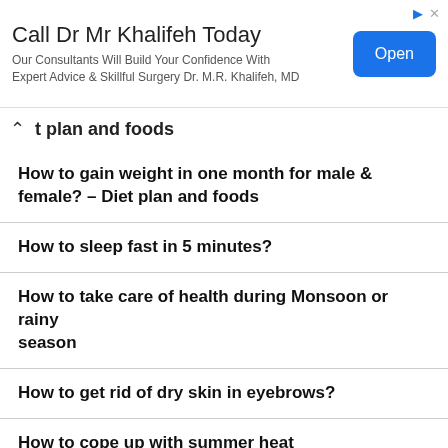[Figure (screenshot): Advertisement banner for Dr. Mr. Khalifeh with Open button]
t plan and foods
How to gain weight in one month for male & female? – Diet plan and foods
How to sleep fast in 5 minutes?
How to take care of health during Monsoon or rainy season
How to get rid of dry skin in eyebrows?
How to cope up with summer heat
How to get rid of cellulite on stomach & side of stomach naturally